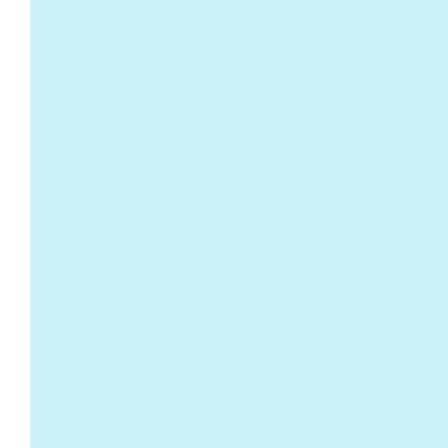[Figure (other): Large light-blue panel occupying the left portion of the upper section of the page]
Beaumont, France, shrapnel, 60, and then from Flying bodies "Acc...

C... and M... fine engag...

It (sic) groun...
LEA
Gerald Ernest
[Figure (photo): Black and white photograph, partially visible at the right edge of the page]